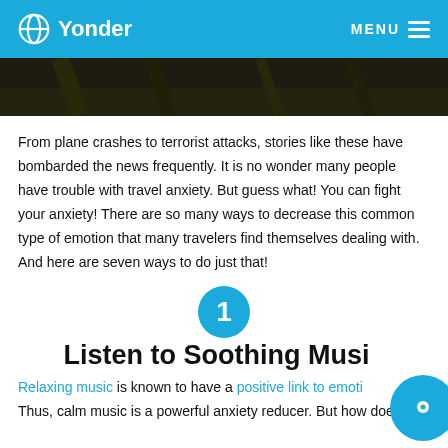Yonder — MENU
[Figure (photo): Dark close-up photo of a piano or wooden surface, serving as hero image]
From plane crashes to terrorist attacks, stories like these have bombarded the news frequently. It is no wonder many people have trouble with travel anxiety. But guess what! You can fight your anxiety! There are so many ways to decrease this common type of emotion that many travelers find themselves dealing with. And here are seven ways to do just that!
[Figure (infographic): Blue circle with white number 1]
Listen to Soothing Music
Relaxing music is known to have a positive link to emotions. Thus, calm music is a powerful anxiety reducer. But how does